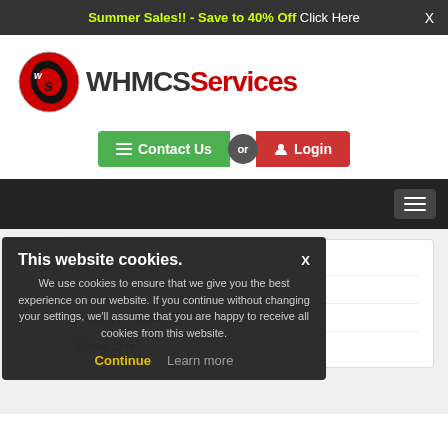Summer Sales!! - Save to 40% Off Click Here
[Figure (logo): WHMCSServices logo with circular red and black icon and bold text]
Contact Us or Login
Navigation bar with hamburger menu
To-Do
Refer A Friend
Email 2FA
This website cookies. We use cookies to ensure that we give you the best experience on our website. If you continue without changing your settings, we'll assume that you are happy to receive all cookies from this website. Continue Learn more